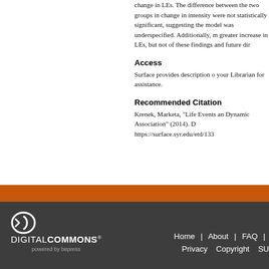change in LEs. The difference between the two groups in change in intensity were not statistically significant, suggesting the model was underspecified. Additionally, more positive LEs were associated with a greater increase in LEs, but not negative LEs. The clinical implications of these findings and future dir
Access
Surface provides description o... your Librarian for assistance.
Recommended Citation
Krenek, Marketa, "Life Events an... Dynamic Association" (2014). D... https://surface.syr.edu/etd/133
Home | About | FAQ | Privacy Copyright SU